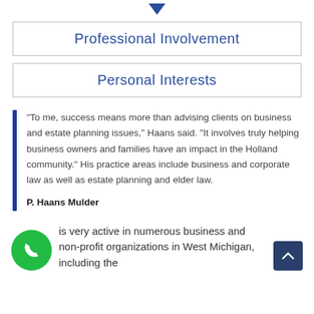Professional Involvement
Personal Interests
"To me, success means more than advising clients on business and estate planning issues," Haans said. "It involves truly helping business owners and families have an impact in the Holland community." His practice areas include business and corporate law as well as estate planning and elder law.

P. Haans Mulder
is very active in numerous business and non-profit organizations in West Michigan, including the